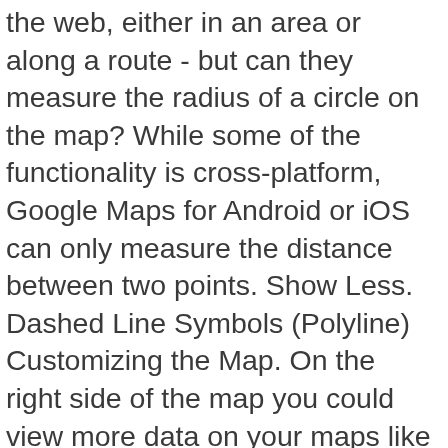the web, either in an area or along a route - but can they measure the radius of a circle on the map? While some of the functionality is cross-platform, Google Maps for Android or iOS can only measure the distance between two points. Show Less. Dashed Line Symbols (Polyline) Customizing the Map. On the right side of the map you could view more data on your maps like labels, streetview, earthquakes, photos by Flickr and news on the map by Reuters. For Rail Map click on the below link. Google Maps tracker: Users can measure distance in Google Maps for Android and the web, Google Maps' next update brings a battery life boost to your phone, Apple uses its Google Maps rival to provide its most important update, Google Maps: Woman caught in strange bird attack on Street View, Google Maps: Two men caught mid-disturbing scene in empty field, Google Maps tracker: Online mapping tools such as Google Maps are now indispensable for travel planning. Google Maps is great for just getting around. The robots are coming! Kake, Fisk Kake, Fisk. Likewise, you can download